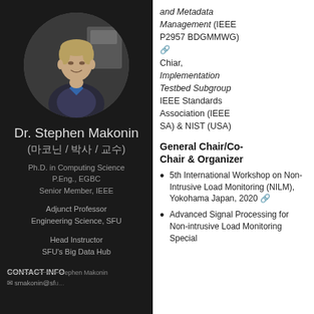[Figure (photo): Circular profile photo of Dr. Stephen Makonin]
Dr. Stephen Makonin
(마코닌 / 박사 / 교수)
Ph.D. in Computing Science
P.Eng., EGBC
Senior Member, IEEE
Adjunct Professor
Engineering Science, SFU
Head Instructor
SFU's Big Data Hub
CONTACT INFO
and Metadata Management (IEEE P2957 BDGMMWG) 🔗
Chiar, Implementation Testbed Subgroup IEEE Standards Association (IEEE SA) & NIST (USA)
General Chair/Co-Chair & Organizer
5th International Workshop on Non-Intrusive Load Monitoring (NILM), Yokohama Japan, 2020 🔗
Advanced Signal Processing for Non-intrusive Load Monitoring Special